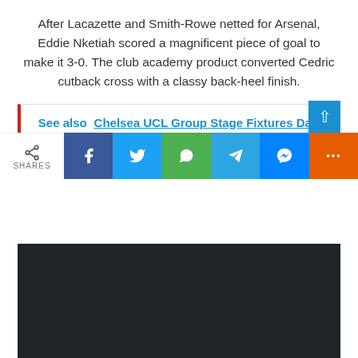After Lacazette and Smith-Rowe netted for Arsenal, Eddie Nketiah scored a magnificent piece of goal to make it 3-0. The club academy product converted Cedric cutback cross with a classy back-heel finish.
See also  Chelsea UCL Group Stage Fixtures Date And Time Revealed As Mendy Tuchel Jorginho And Kante Win A Big Prize
[Figure (other): Dark video embed area with dark background]
[Figure (other): Social share bar with icons for Facebook, Twitter, WhatsApp, Telegram, Messenger, and More]